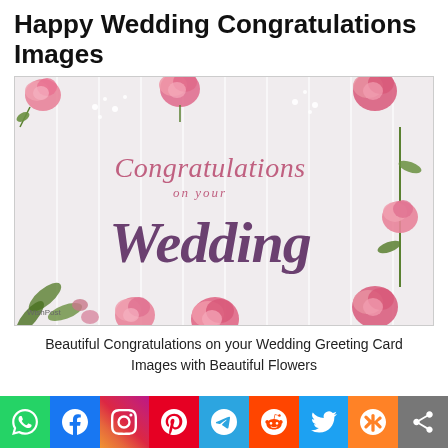Happy Wedding Congratulations Images
[Figure (photo): Wedding greeting card with pink roses and flowers on white wooden background with script text reading 'Congratulations on your Wedding']
Beautiful Congratulations on your Wedding Greeting Card Images with Beautiful Flowers
[Figure (infographic): Social media share bar with icons: WhatsApp (green), Facebook (blue), Instagram (gradient), Pinterest (red), Telegram (blue), Reddit (orange-red), Twitter (blue), Mix (orange), Share (gray)]